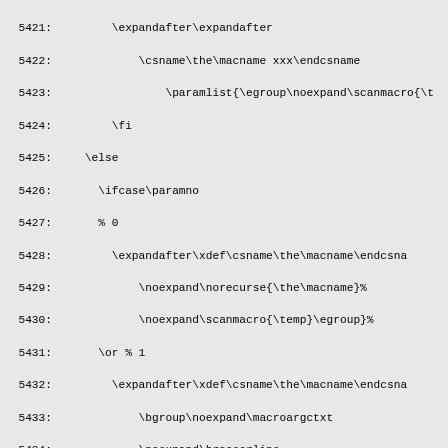Source code listing lines 5421-5451, TeX/LaTeX macro definitions